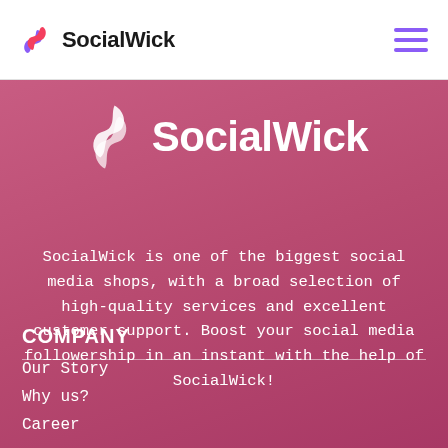SocialWick
[Figure (logo): SocialWick logo with swirl icon centered on pink background]
SocialWick is one of the biggest social media shops, with a broad selection of high-quality services and excellent customer support. Boost your social media followership in an instant with the help of SocialWick!
COMPANY
Our Story
Why us?
Career